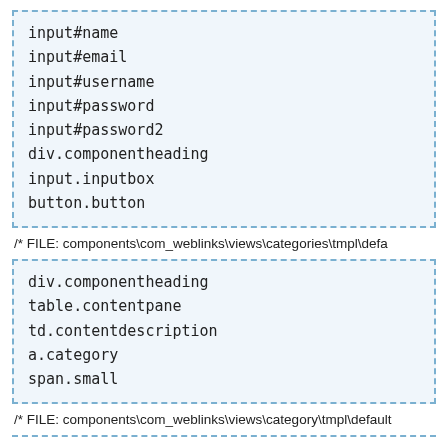[Figure (screenshot): Dashed-border code box listing CSS selectors: input#name, input#email, input#username, input#password, input#password2, div.componentheading, input.inputbox, button.button]
/* FILE: components\com_weblinks\views\categories\tmpl\defa
[Figure (screenshot): Dashed-border code box listing CSS selectors: div.componentheading, table.contentpane, td.contentdescription, a.category, span.small]
/* FILE: components\com_weblinks\views\category\tmpl\default